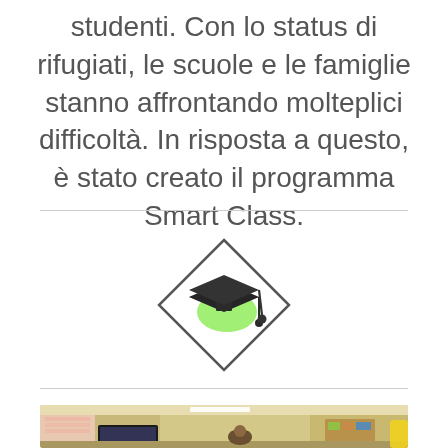studenti. Con lo status di rifugiati, le scuole e le famiglie stanno affrontando molteplici difficoltà. In risposta a questo, è stato creato il programma Smart Class.
[Figure (illustration): Diamond-shaped icon containing a graduation cap (mortarboard) with a green glow/shadow effect, outlined in dark gray]
[Figure (photo): Classroom interior photo showing desks, a TV/screen, bulletin boards, and students or people in a classroom setting with warm yellow-beige walls]